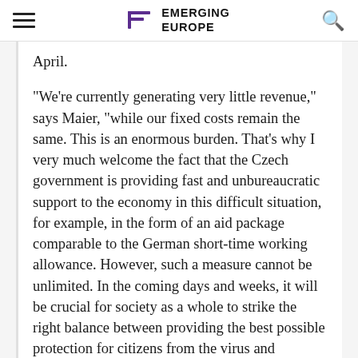EMERGING EUROPE
April.
“We’re currently generating very little revenue,” says Maier, “while our fixed costs remain the same. This is an enormous burden. That’s why I very much welcome the fact that the Czech government is providing fast and unbureaucratic support to the economy in this difficult situation, for example, in the form of an aid package comparable to the German short-time working allowance. However, such a measure cannot be unlimited. In the coming days and weeks, it will be crucial for society as a whole to strike the right balance between providing the best possible protection for citizens from the virus and securing the economy and jobs.”